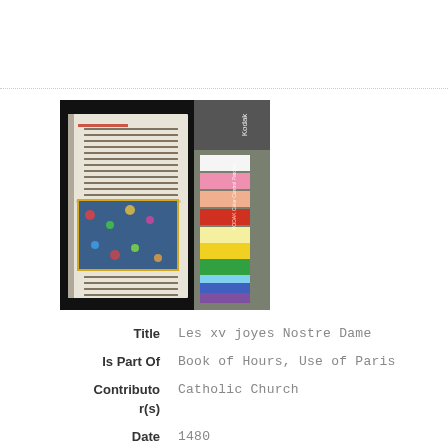[Figure (photo): Photograph of an open illuminated medieval manuscript (Book of Hours) with colorful decorated pages showing text and floral/foliate border decoration, alongside a Kodak Color Control Patches color calibration strip.]
Title	Les xv joyes Nostre Dame
Is Part Of	Book of Hours, Use of Paris
Contributor(s)	Catholic Church
Date Issued	1480